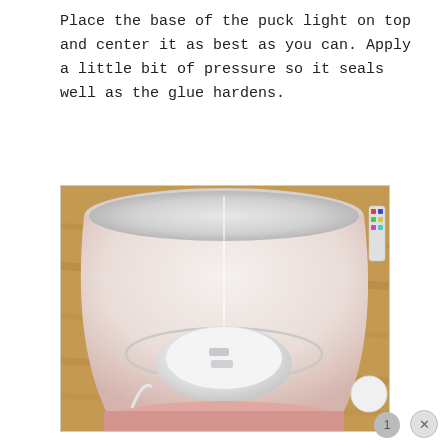Place the base of the puck light on top and center it as best as you can. Apply a little bit of pressure so it seals well as the glue hardens.
[Figure (photo): Top-down view inside a pink lampshade showing a white puck light placed at the center bottom. The lampshade is cylindrical with a white interior, and the puck light is circular and white with LED markings. A wire ring support is visible around the puck light. The lamp sits on a wooden floor surface. A white disc and colorful remote are visible to the right.]